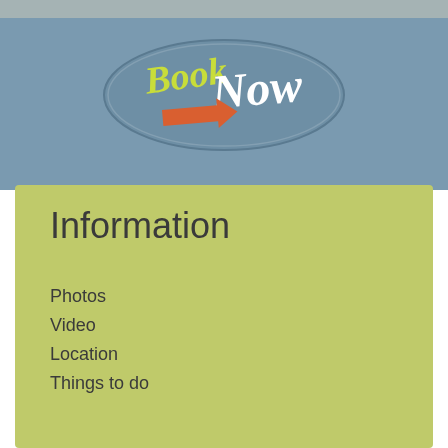[Figure (logo): BookNow logo: an oval teal/grey badge with 'Book' in yellow-green hand-lettered font, 'Now' in white hand-lettered font, and an orange arrow pointing right beneath the text]
Information
Photos
Video
Location
Things to do